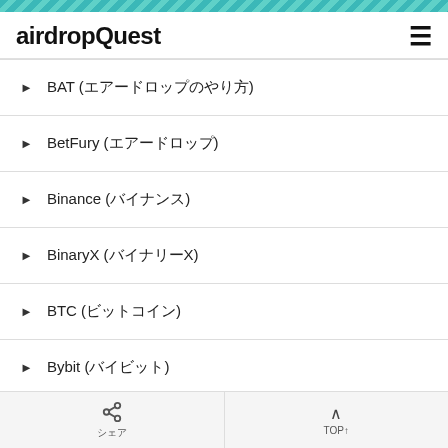airdropQuest
▶ BAT (エアードロップのやり方)
▶ BetFury (エアードロップ)
▶ Binance (バイナンス)
▶ BinaryX (バイナリーX)
▶ BTC (ビットコイン)
▶ Bybit (バイビット)
▶ FX (エフエックス)
シェア　TOP↑